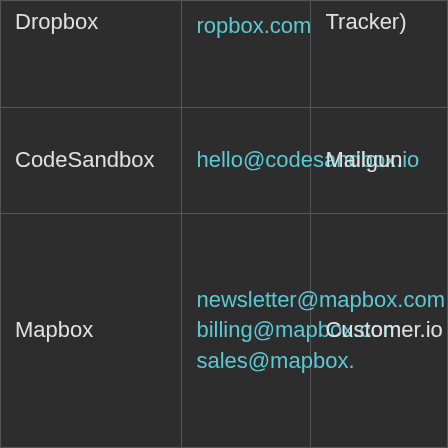| Dropbox | ropbox.com | Tracker) |
| CodeSandbox | hello@codesandbox.io | Mailgun |
| Mapbox | newsletter@mapbox.com billing@mapbox.com sales@mapbox. | Customer.io |